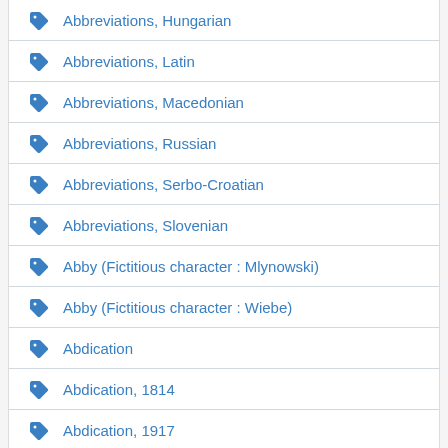Abbreviations, Hungarian
Abbreviations, Latin
Abbreviations, Macedonian
Abbreviations, Russian
Abbreviations, Serbo-Croatian
Abbreviations, Slovenian
Abby (Fictitious character : Mlynowski)
Abby (Fictitious character : Wiebe)
Abdication
Abdication, 1814
Abdication, 1917